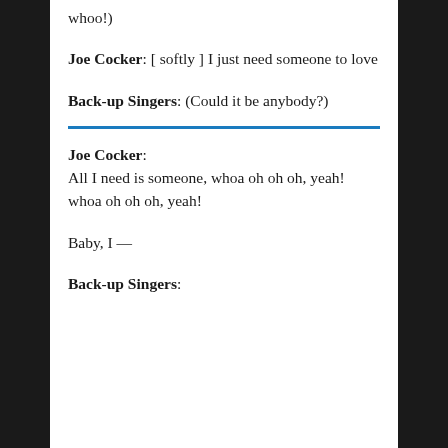whoo!)
Joe Cocker: [ softly ] I just need someone to love
Back-up Singers: (Could it be anybody?)
Joe Cocker:
All I need is someone, whoa oh oh oh, yeah!
whoa oh oh oh, yeah!
Baby, I —
Back-up Singers: